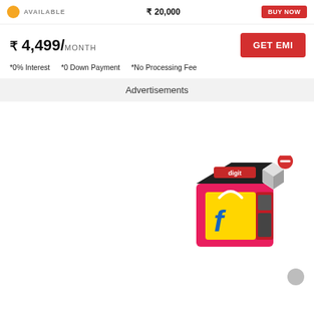AVAILABLE  ₹ 20,000  BUY NOW
₹ 4,499/MONTH
GET EMI
*0% Interest  *0 Down Payment  *No Processing Fee
Advertisements
[Figure (illustration): Flipkart branded gift box with yellow shopping bag and Flipkart logo, surrounded by product images, with a close/minus button overlay]